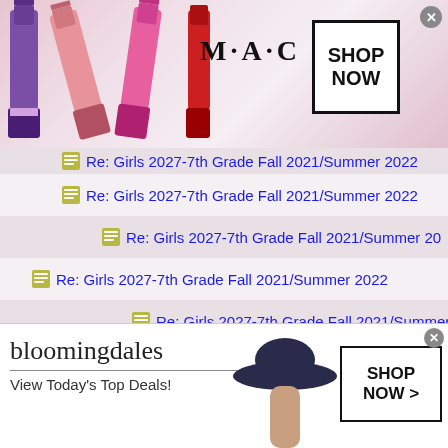[Figure (screenshot): MAC cosmetics advertisement banner with lipsticks and SHOP NOW button]
Re: Girls 2027-7th Grade Fall 2021/Summer 2022
Re: Girls 2027-7th Grade Fall 2021/Summer 2022
Re: Girls 2027-7th Grade Fall 2021/Summer 2022
Re: Girls 2027-7th Grade Fall 2021/Summer 2022
Re: Girls 2027-7th Grade Fall 2021/Summer 2022
Re: Girls 2027-7th Grade Fall 2021/Summer 2022
Re: Girls 2027-7th Grade Fall 2021/Summer 2022 2022
Re: Girls 2027-7th Grade Fall 2021/Summer 2022
Re: Girls 2027-7th Grade Fall 2021/Summer 2022
Re: Girls 2027-7th Grade Fall 2021/Summer 2022
[Figure (screenshot): Bloomingdale's advertisement banner with View Today's Top Deals and SHOP NOW button]